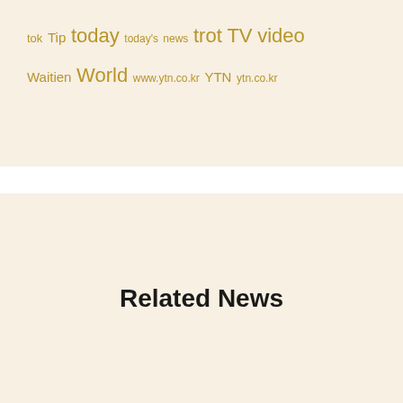tok Tip today today's news trot TV video Waitien World www.ytn.co.kr YTN ytn.co.kr
Related News